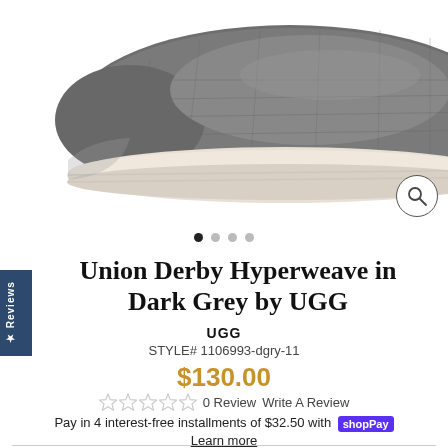[Figure (photo): Grey knit slip-on sneaker shoe (UGG Union Derby Hyperweave) with white sole, photographed on white background at an angle.]
Union Derby Hyperweave in Dark Grey by UGG
UGG
STYLE# 1106993-dgry-11
$130.00
0 Review   Write A Review
Pay in 4 interest-free installments of $32.50 with shop Pay
Learn more